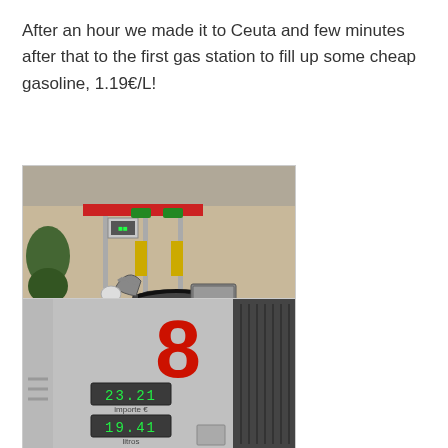After an hour we made it to Ceuta and few minutes after that to the first gas station to fill up some cheap gasoline, 1.19€/L!
[Figure (photo): A motorcycle parked at a gas station, with fuel pumps visible in the background.]
[Figure (photo): Close-up of a gas pump display showing pump number 8, with digital readouts showing 23.21 and 19.41, labeled 'importe' and 'litros'.]